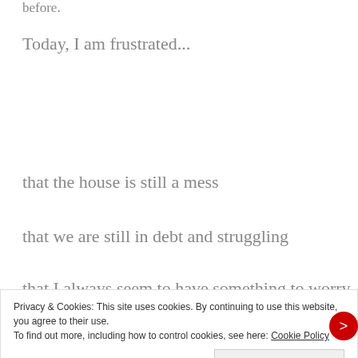before.
Today, I am frustrated...
that the house is still a mess
that we are still in debt and struggling
that I always seem to have something to worry about
Privacy & Cookies: This site uses cookies. By continuing to use this website, you agree to their use.
To find out more, including how to control cookies, see here: Cookie Policy
Close and accept